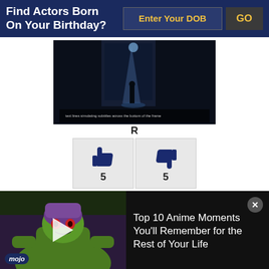Find Actors Born On Your Birthday?
Enter Your DOB
GO
[Figure (screenshot): Dark movie still showing a dimly lit corridor/tunnel scene with blue lighting]
R
[Figure (infographic): Thumbs up icon with count 5 and thumbs down icon with count 5]
Marnie Watson is placed under house arrest with an electronic ankle bracelet as a punishment for killing her abusive husband. However, things take a turn when it
[Figure (screenshot): WatchMojo anime video thumbnail showing animated character, with title Top 10 Anime Moments You'll Remember for the Rest of Your Life]